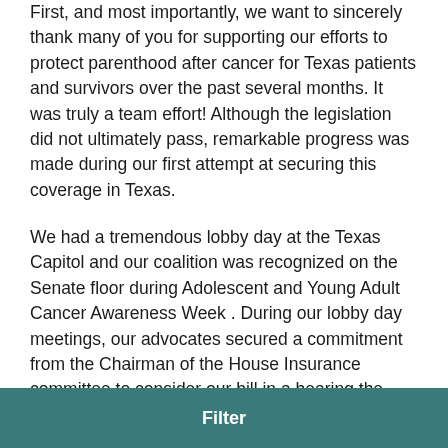First, and most importantly, we want to sincerely thank many of you for supporting our efforts to protect parenthood after cancer for Texas patients and survivors over the past several months. It was truly a team effort! Although the legislation did not ultimately pass, remarkable progress was made during our first attempt at securing this coverage in Texas.
We had a tremendous lobby day at the Texas Capitol and our coalition was recognized on the Senate floor during Adolescent and Young Adult Cancer Awareness Week . During our lobby day meetings, our advocates secured a commitment from the Chairman of the House Insurance committee to consider our bill in a hearing the following week.
The hearing featured patients and experts delivering compelling and moving testimony about the value of
Filter